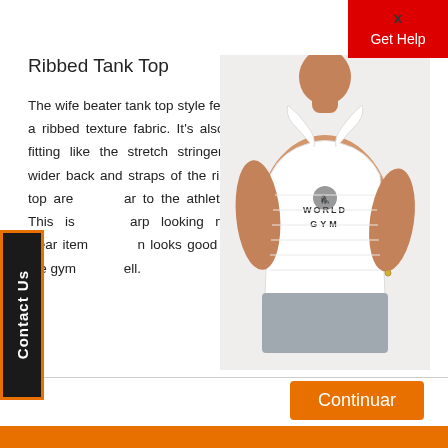X
Get Help
Ribbed Tank Top
The wife beater tank top style features a ribbed texture fabric. It's also form fitting like the stretch stringer. The wider back and straps of the rib tank top are similar to the athletic cut. This is a sharp looking muscle wear item that looks good out of the gym as well.
[Figure (photo): Man wearing a white World Gym ribbed tank top, muscular physique, grey shorts]
Contact Us
Continuar